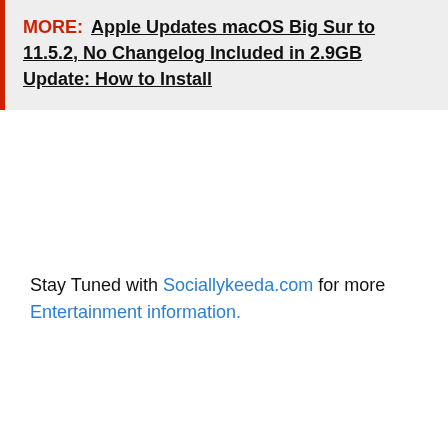MORE: Apple Updates macOS Big Sur to 11.5.2, No Changelog Included in 2.9GB Update: How to Install
Stay Tuned with Sociallykeeda.com for more Entertainment information.